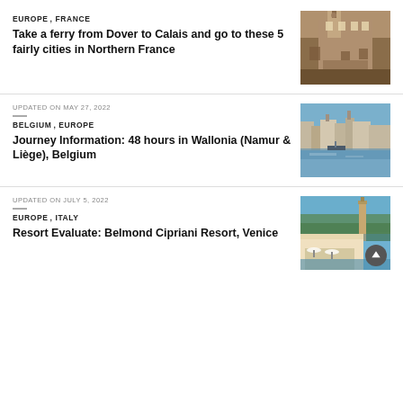EUROPE, FRANCE
Take a ferry from Dover to Calais and go to these 5 fairly cities in Northern France
[Figure (photo): Historic brick building with clock tower in Northern France]
UPDATED ON MAY 27, 2022
BELGIUM, EUROPE
Journey Information: 48 hours in Wallonia (Namur & Liège), Belgium
[Figure (photo): Riverside cityscape of Wallonia with church towers and boats]
UPDATED ON JULY 5, 2022
EUROPE, ITALY
Resort Evaluate: Belmond Cipriani Resort, Venice
[Figure (photo): Outdoor terrace of Belmond Cipriani Resort Venice with bell tower in background]